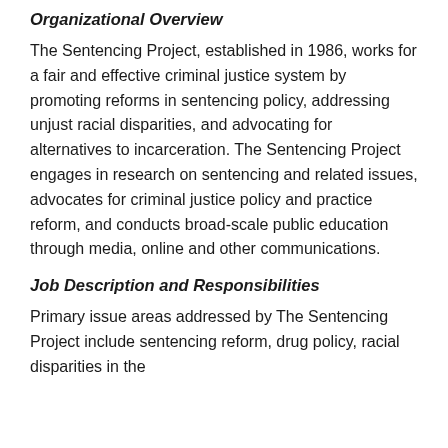Organizational Overview
The Sentencing Project, established in 1986, works for a fair and effective criminal justice system by promoting reforms in sentencing policy, addressing unjust racial disparities, and advocating for alternatives to incarceration. The Sentencing Project engages in research on sentencing and related issues, advocates for criminal justice policy and practice reform, and conducts broad-scale public education through media, online and other communications.
Job Description and Responsibilities
Primary issue areas addressed by The Sentencing Project include sentencing reform, drug policy, racial disparities in the